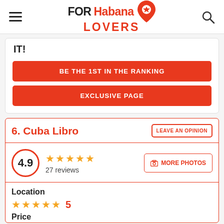FOR Habana LOVERS
IT!
BE THE 1ST IN THE RANKING
EXCLUSIVE PAGE
6. Cuba Libro
LEAVE AN OPINION
4.9 — 27 reviews — MORE PHOTOS
Location
5
Price